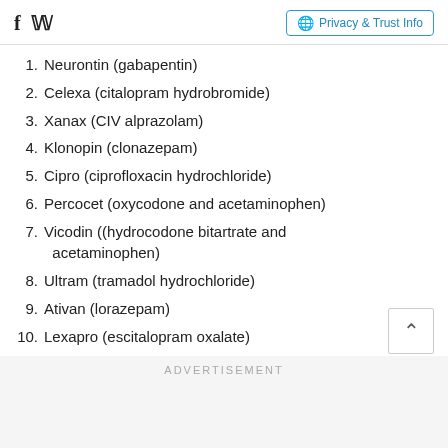Facebook Twitter | Privacy & Trust Info
1. Neurontin (gabapentin)
2. Celexa (citalopram hydrobromide)
3. Xanax (CIV alprazolam)
4. Klonopin (clonazepam)
5. Cipro (ciprofloxacin hydrochloride)
6. Percocet (oxycodone and acetaminophen)
7. Vicodin ((hydrocodone bitartrate and acetaminophen)
8. Ultram (tramadol hydrochloride)
9. Ativan (lorazepam)
10. Lexapro (escitalopram oxalate)
ADVERTISEMENT